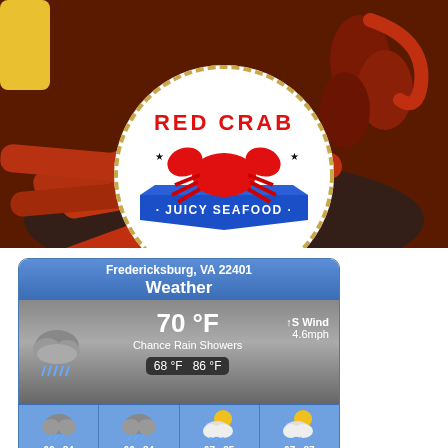[Figure (photo): Red Crab Juicy Seafood restaurant logo overlaid on a photo of crab legs, sausage, corn, and seafood in a bowl. The circular logo has red text 'RED CRAB' at top, a red crab illustration in the center, and blue banner with 'JUICY SEAFOOD' text at the bottom.]
[Figure (screenshot): Weather widget showing Fredericksburg, VA 22401. Current temperature 70°F, Chance Rain Showers, S Wind 4.6mph. Low 68°F High 86°F. Forecast row showing four days with rain/sun icons and temperatures: 60/84, 66/84, 67/85, 67/87.]